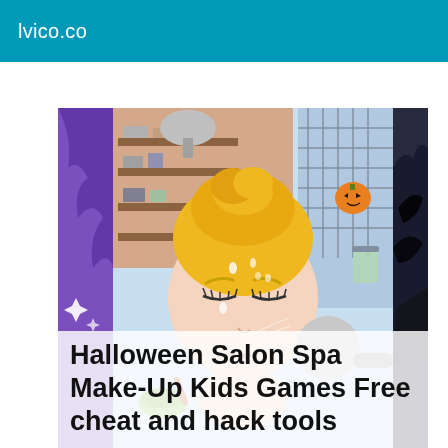lvico.co
[Figure (screenshot): Halloween Salon Spa Make-Up Kids Games screenshot showing an animated girl with a yellow towel on her head getting a spa facial treatment, with purple and dark Halloween themed background on the sides, spa equipment visible in the background.]
Halloween Salon Spa Make-Up Kids Games Free cheat and hack tools